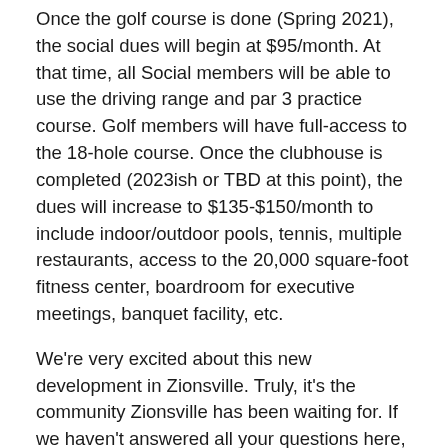Once the golf course is done (Spring 2021), the social dues will begin at $95/month. At that time, all Social members will be able to use the driving range and par 3 practice course. Golf members will have full-access to the 18-hole course. Once the clubhouse is completed (2023ish or TBD at this point), the dues will increase to $135-$150/month to include indoor/outdoor pools, tennis, multiple restaurants, access to the 20,000 square-foot fitness center, boardroom for executive meetings, banquet facility, etc.
We're very excited about this new development in Zionsville. Truly, it's the community Zionsville has been waiting for. If we haven't answered all your questions here, please call, text or email. Once you purchase a lot or Golf/Social Membership, you can join the private Facebook group where you can meet your future neighbors/fellow club members and share information. My team will also post updates on Facebook as they become available.